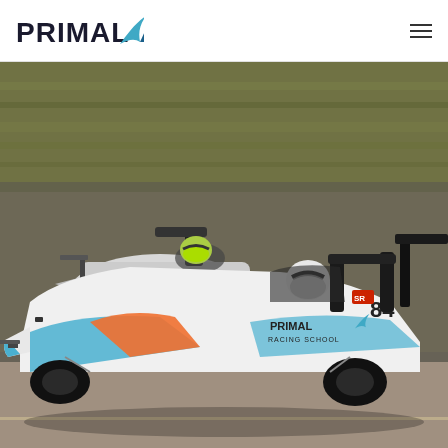PRIMAL Racing School - navigation header with logo and hamburger menu
[Figure (photo): Two Radical racing cars on track at speed. The foreground car is white with blue and orange livery, numbered 84, with PRIMAL RACING SCHOOL branding on the side and a shark logo. A second white car follows closely behind. Both drivers wear helmets. The background shows motion-blurred trees and track scenery.]